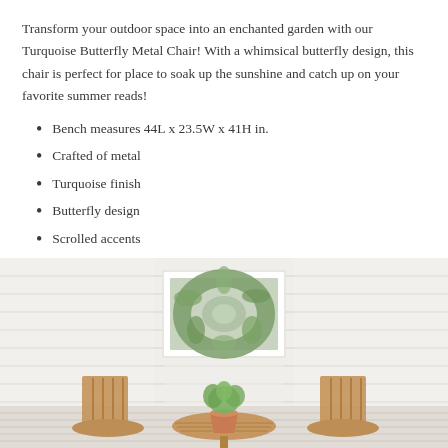Transform your outdoor space into an enchanted garden with our Turquoise Butterfly Metal Chair! With a whimsical butterfly design, this chair is perfect for place to soak up the sunshine and catch up on your favorite summer reads!
Bench measures 44L x 23.5W x 41H in.
Crafted of metal
Turquoise finish
Butterfly design
Scrolled accents
[Figure (photo): Outdoor patio scene showing a white house facade with horizontal siding, a white window with a green wreath, and below it a wooden round table with two wooden slatted chairs and a potted green plant in the center.]